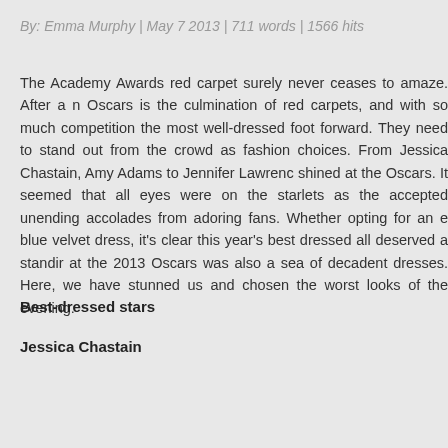By: Emma Murphy | May 7 2013 | 711 words | 1566 hits
The Academy Awards red carpet surely never ceases to amaze. After a n Oscars is the culmination of red carpets, and with so much competition the most well-dressed foot forward. They need to stand out from the crowd as fashion choices. From Jessica Chastain, Amy Adams to Jennifer Lawrenc shined at the Oscars. It seemed that all eyes were on the starlets as the accepted unending accolades from adoring fans. Whether opting for an e blue velvet dress, it's clear this year's best dressed all deserved a standir at the 2013 Oscars was also a sea of decadent dresses. Here, we have stunned us and chosen the worst looks of the evening.
Best-dressed stars
Jessica Chastain